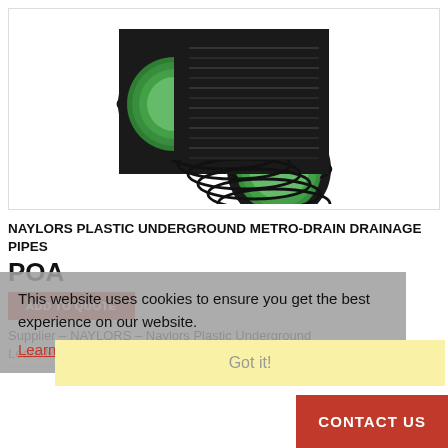[Figure (photo): Two black corrugated plastic underground drainage pipes with bright green interior lining, crossed over each other, showing circular open ends.]
NAYLORS PLASTIC UNDERGROUND METRO-DRAIN DRAINAGE PIPES
POA
ADD TO QUOTE
Supplier – NAYLORS – Naylors Plastic Underground
Learn More
This website uses cookies to ensure you get the best experience on our website.
Learn more
Got it!
CONTACT US